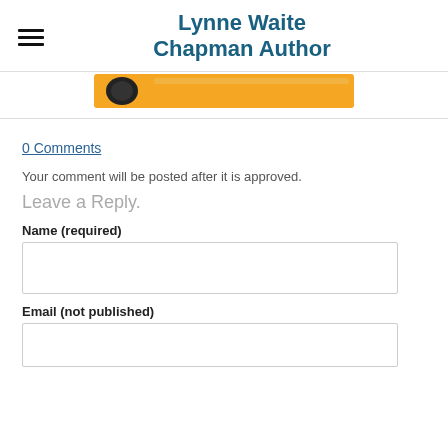Lynne Waite Chapman Author
[Figure (photo): Partial view of a yellow spirit level / measuring tool with a black circular bubble vial visible, cropped at the top of the content area.]
0 Comments
Your comment will be posted after it is approved.
Leave a Reply.
Name (required)
Email (not published)